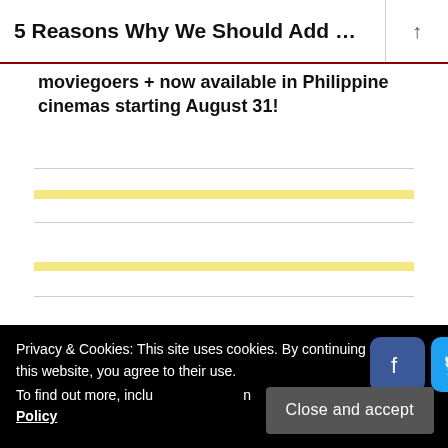5 Reasons Why We Should Add Co...
moviegoers + now available in Philippine cinemas starting August 31!
News / Celebrity Scoop
Privacy & Cookies: This site uses cookies. By continuing to use this website, you agree to their use. To find out more, including how to control cookies, see here: Cookie Policy
Close and accept
Variety Show